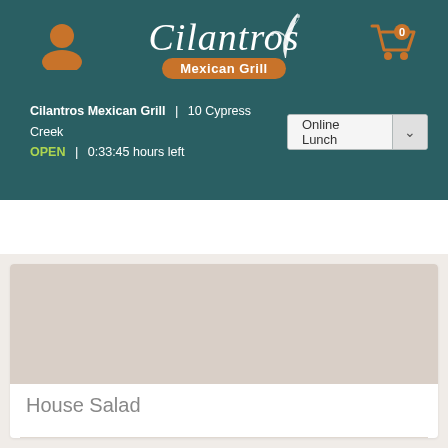[Figure (logo): Cilantros Mexican Grill logo with plant illustration on teal background]
Cilantros Mexican Grill | 10 Cypress Creek
OPEN | 0:33:45 hours left
Online Lunch
U | SIDES/ALA CART | SOUP/SALADS | ENCHILADAS | FAJIT
House Salad